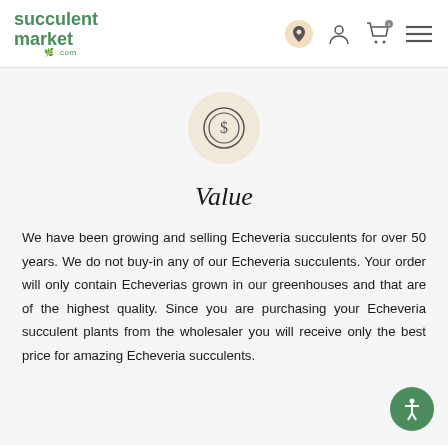succulent market .com
[Figure (illustration): A coin icon with a dollar sign inside two concentric circles, centered in a beige circular background.]
Value
We have been growing and selling Echeveria succulents for over 50 years. We do not buy-in any of our Echeveria succulents. Your order will only contain Echeverias grown in our greenhouses and that are of the highest quality. Since you are purchasing your Echeveria succulent plants from the wholesaler you will receive only the best price for amazing Echeveria succulents.